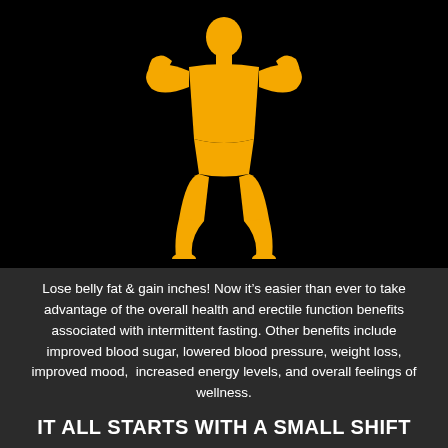[Figure (illustration): Golden/yellow silhouette of a muscular bodybuilder flexing both arms in a double bicep pose, on a black background]
Lose belly fat & gain inches! Now it’s easier than ever to take advantage of the overall health and erectile function benefits associated with intermittent fasting. Other benefits include improved blood sugar, lowered blood pressure, weight loss, improved mood,  increased energy levels, and overall feelings of wellness.
IT ALL STARTS WITH A SMALL SHIFT